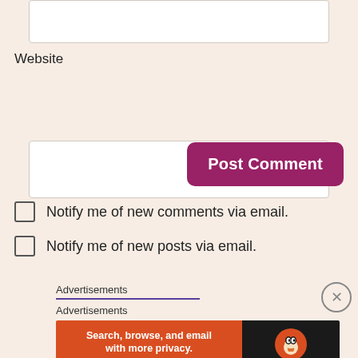[Figure (screenshot): Empty white input text box (top, partially visible)]
Website
[Figure (screenshot): Empty white input text box for Website field]
[Figure (screenshot): Post Comment button - purple/magenta rounded rectangle button with white bold text]
Notify me of new comments via email.
Notify me of new posts via email.
Advertisements
Advertisements
[Figure (screenshot): DuckDuckGo advertisement banner: orange left panel with text 'Search, browse, and email with more privacy. All in One Free App' and dark right panel with DuckDuckGo logo and name]